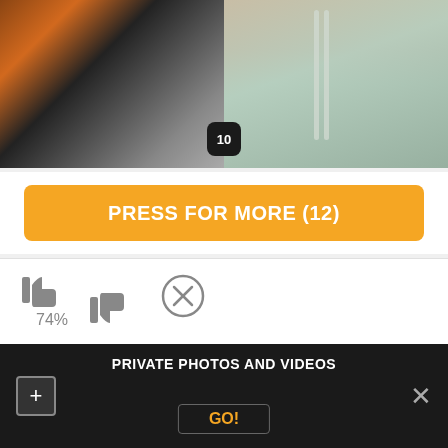[Figure (photo): Two-panel photo collage: left panel shows person in black top and gray sweatpants against brick wall; right panel shows close-up of gray sweatpants with drawstring. Badge showing '10' visible at bottom center.]
PRESS FOR MORE (12)
74%
Comments (5)
PRIVATE PHOTOS AND VIDEOS
GO!